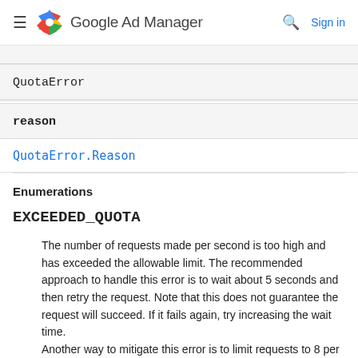Google Ad Manager
| QuotaError |
| --- |
| reason |
QuotaError.Reason
Enumerations
EXCEEDED_QUOTA
The number of requests made per second is too high and has exceeded the allowable limit. The recommended approach to handle this error is to wait about 5 seconds and then retry the request. Note that this does not guarantee the request will succeed. If it fails again, try increasing the wait time. Another way to mitigate this error is to limit requests to 8 per second for Ad Manager 360 accounts, or 2 per second for Ad Manager accounts. Once again this does not guarantee that every request will succeed, but may help reduce the number